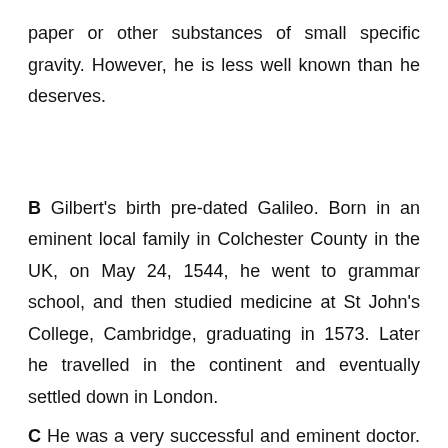paper or other substances of small specific gravity. However, he is less well known than he deserves.
B Gilbert's birth pre-dated Galileo. Born in an eminent local family in Colchester County in the UK, on May 24, 1544, he went to grammar school, and then studied medicine at St John's College, Cambridge, graduating in 1573. Later he travelled in the continent and eventually settled down in London.
C He was a very successful and eminent doctor. All this culminated in his election to the president of the Royal